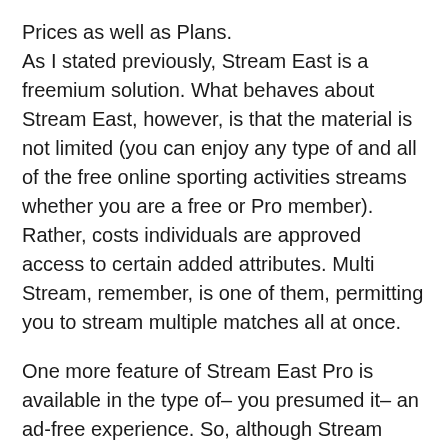Prices as well as Plans. As I stated previously, Stream East is a freemium solution. What behaves about Stream East, however, is that the material is not limited (you can enjoy any type of and all of the free online sporting activities streams whether you are a free or Pro member). Rather, costs individuals are approved access to certain added attributes. Multi Stream, remember, is one of them, permitting you to stream multiple matches all at once.
One more feature of Stream East Pro is available in the type of– you presumed it– an ad-free experience. So, although Stream East would certainly discontinue to be a totally free sporting activities streaming website in the most strict sense, it is definitely something that I would seriously take into consideration if I discover myself utilizing Stream East regularly.